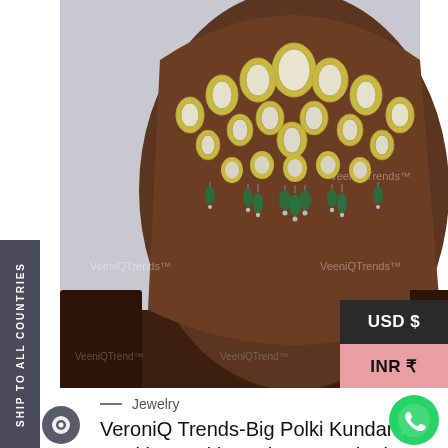[Figure (photo): Product photo of a large Polki Kundan necklace displayed on a dark brown velvet neck stand. The necklace features large white/cream kundan stones set in gold, with hanging dark green emerald-like beads. Background is light grey. Watermarks reading VeeniQTrends are visible across the image.]
USD $
INR ₹
SHIP TO ALL COUNTRIES
— Jewelry
VeroniQ Trends-Big Polki Kundan Necklace With Back Meenaakari-Bollywood Necklace-Party Jewelry-VC